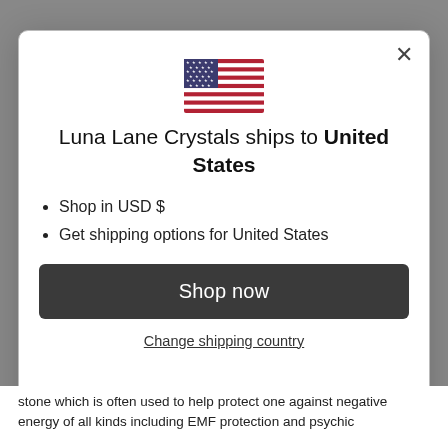[Figure (other): US flag emoji/icon centered near top of modal]
Luna Lane Crystals ships to United States
Shop in USD $
Get shipping options for United States
Shop now
Change shipping country
stone which is often used to help protect one against negative energy of all kinds including EMF protection and psychic